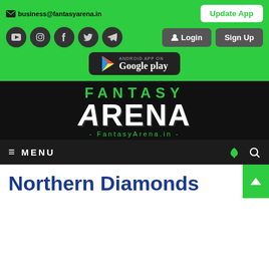business@fantasyarena.in  Update App
[Figure (screenshot): Social media icons: YouTube, Instagram, Facebook, Twitter, Telegram; Login and Sign Up buttons]
[Figure (logo): Google Play download button on dark background]
[Figure (logo): Fantasy Arena logo on black background with text FantasyArena.in]
≡  MENU
Northern Diamonds